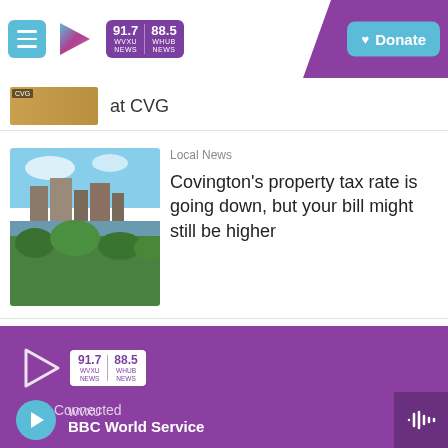[Figure (screenshot): WVXU/WHUB radio station website header with menu button, logo (91.7 WVXU NEWS / 88.5 WHUB NEWS), and Donate button on purple background]
at CVG
Local News
Covington's property tax rate is going down, but your bill might still be higher
[Figure (screenshot): Footer section with WVXU 91.7 / WHUB 88.5 logo on purple background, Stay Connected text, and BBC World Service player bar]